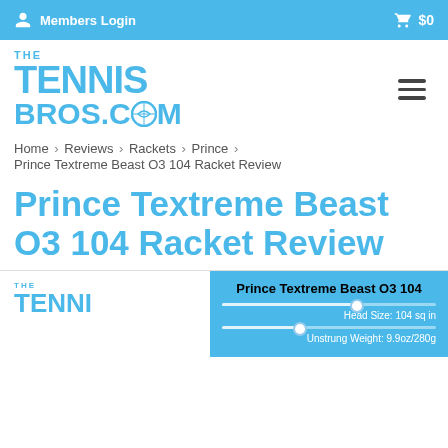Members Login   $0
[Figure (logo): The Tennis Bros .com logo in blue]
Home > Reviews > Rackets > Prince >
Prince Textreme Beast O3 104 Racket Review
Prince Textreme Beast O3 104 Racket Review
[Figure (infographic): Prince Textreme Beast O3 104 info card showing Head Size: 104 sq in and Unstrung Weight slider]